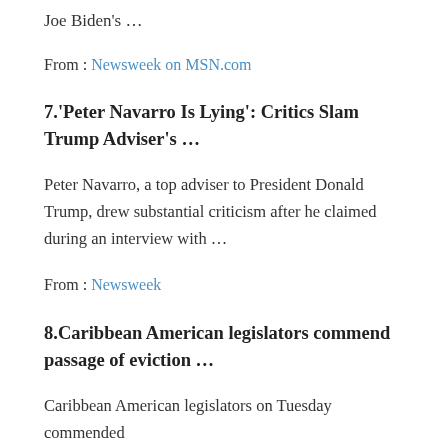Joe Biden's …
From : Newsweek on MSN.com
7.'Peter Navarro Is Lying': Critics Slam Trump Adviser's …
Peter Navarro, a top adviser to President Donald Trump, drew substantial criticism after he claimed during an interview with …
From : Newsweek
8.Caribbean American legislators commend passage of eviction …
Caribbean American legislators on Tuesday commended